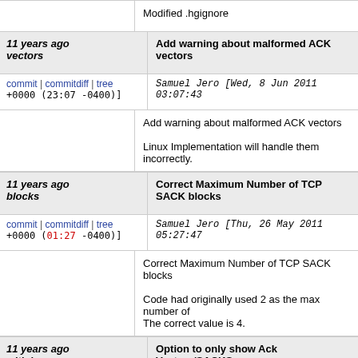Modified .hgignore
11 years ago vectors | Add warning about malformed ACK vectors
commit | commitdiff | tree Samuel Jero [Wed, 8 Jun 2011 03:07:43 +0000 (23:07 -0400)]
Add warning about malformed ACK vectors

Linux Implementation will handle them incorrectly.
11 years ago blocks | Correct Maximum Number of TCP SACK blocks
commit | commitdiff | tree Samuel Jero [Thu, 26 May 2011 05:27:47 +0000 (01:27 -0400)]
Correct Maximum Number of TCP SACK blocks

Code had originally used 2 as the max number of The correct value is 4.
11 years ago with loss | Option to only show Ack Vectors/SACKS
commit | commitdiff | tree Samuel Jero [Wed, 25 May 2011 04:48:35 +0000 (00:48 -0400)]